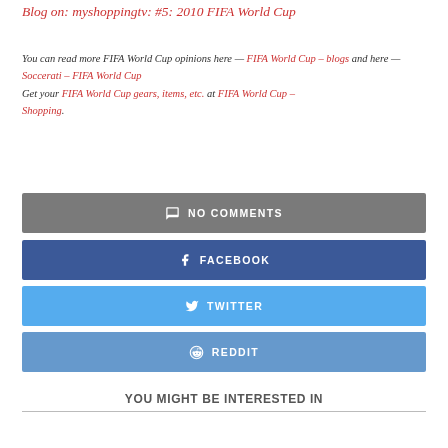Blog on: myshoppingtv: #5: 2010 FIFA World Cup
You can read more FIFA World Cup opinions here — FIFA World Cup – blogs and here — Soccerati – FIFA World Cup Get your FIFA World Cup gears, items, etc. at FIFA World Cup – Shopping.
NO COMMENTS
FACEBOOK
TWITTER
REDDIT
YOU MIGHT BE INTERESTED IN